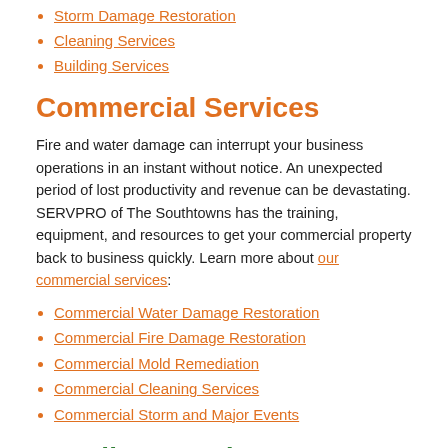Storm Damage Restoration
Cleaning Services
Building Services
Commercial Services
Fire and water damage can interrupt your business operations in an instant without notice. An unexpected period of lost productivity and revenue can be devastating. SERVPRO of The Southtowns has the training, equipment, and resources to get your commercial property back to business quickly. Learn more about our commercial services:
Commercial Water Damage Restoration
Commercial Fire Damage Restoration
Commercial Mold Remediation
Commercial Cleaning Services
Commercial Storm and Major Events
Locally Owned Company with National Resources
SERVPRO of The Southtowns is locally owned and